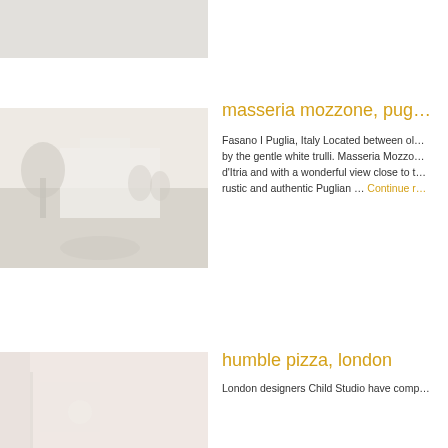[Figure (photo): Partial top image, light gray placeholder, cropped at top of page]
[Figure (photo): Outdoor scene at Masseria Mozzone, Puglia - white building with tree, light washed-out photograph]
masseria mozzone, pug…
Fasano I Puglia, Italy Located between ol… by the gentle white trulli. Masseria Mozzo… d'Itria and with a wonderful view close to … rustic and authentic Puglian … Continue r…
[Figure (photo): Interior scene for Humble Pizza, London - light pinkish tones, partially visible]
humble pizza, london
London designers Child Studio have comp…